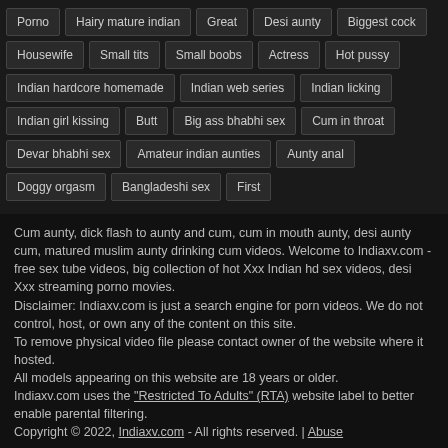Porno | Hairy mature indian | Great | Desi aunty | Biggest cock | Housewife | Small tits | Small boobs | Actress | Hot pussy | Indian hardcore homemade | Indian web series | Indian licking | Indian girl kissing | Butt | Big ass bhabhi sex | Cum in throat | Devar bhabhi sex | Amateur indian aunties | Aunty anal | Doggy orgasm | Bangladeshi sex | First
Cum aunty, dick flash to aunty and cum, cum in mouth aunty, desi aunty cum, matured muslim aunty drinking cum videos. Welcome to Indiaxv.com - free sex tube videos, big collection of hot Xxx Indian hd sex videos, desi Xxx streaming porno movies.
Disclaimer: Indiaxv.com is just a search engine for porn videos. We do not control, host, or own any of the content on this site.
To remove physical video file please contact owner of the website where it hosted.
All models appearing on this website are 18 years or older.
Indiaxv.com uses the "Restricted To Adults" (RTA) website label to better enable parental filtering.
Copyright © 2022, Indiaxv.com - All rights reserved. | Abuse